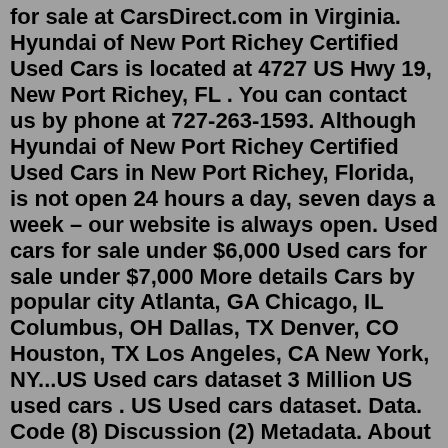for sale at CarsDirect.com in Virginia. Hyundai of New Port Richey Certified Used Cars is located at 4727 US Hwy 19, New Port Richey, FL . You can contact us by phone at 727-263-1593. Although Hyundai of New Port Richey Certified Used Cars in New Port Richey, Florida, is not open 24 hours a day, seven days a week – our website is always open. Used cars for sale under $6,000 Used cars for sale under $7,000 More details Cars by popular city Atlanta, GA Chicago, IL Columbus, OH Dallas, TX Denver, CO Houston, TX Los Angeles, CA New York, NY...US Used cars dataset 3 Million US used cars . US Used cars dataset. Data. Code (8) Discussion (2) Metadata. About Dataset. Context. The dataset contains 3 million real world used cars details. Content. This data was obtained by running a self made crawler on Cargurus inventory in September 2020.Get used car pricing and explore thousands of car listings at Kelley Blue Book. Search for your next used car at KBB.com, the site you trust the most.Popular Cars, SUVs, and Trucks For Sale. These are some of the